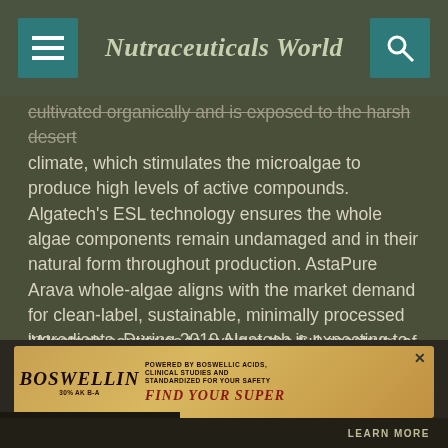Nutraceuticals World
cultivated organically and is exposed to the harsh desert climate, which stimulates the microalgae to produce high levels of active compounds. Algatech's ESL technology ensures the whole algae components remain undamaged and in their natural form throughout production. AstaPure Arava whole-algae aligns with the market demand for clean-label, sustainable, minimally processed ingredients. During 2019 Algatech is expecting to introduce new innovative products and delivery forms based on the AstaPure Arava powder.
"Algatech continues to explore the full spectrum of Haematococcus Pluvialis microalgae beyond astaxanthin," said Efrat Kat, VP of Global Sales for Algatech. "We can now provide consumers with all the
[Figure (screenshot): Advertisement banner for Boswellin product with orange/gold gradient background, showing Boswellin logo, text about being powered by Boswellic Acids, clinical studies and standardized for safety, with 'Find Your Super' tagline and a Learn More button]